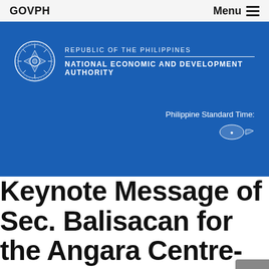GOVPH   Menu
[Figure (logo): NEDA header banner with Philippine government seal and text: Republic of the Philippines, National Economic and Development Authority, Philippine Standard Time with clock widget]
Keynote Message of Sec. Balisacan for the Angara Centre-Metrobank